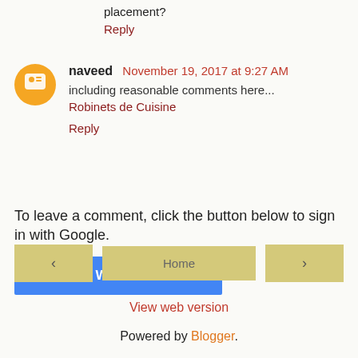placement?
Reply
naveed  November 19, 2017 at 9:27 AM
including reasonable comments here...
Robinets de Cuisine
Reply
To leave a comment, click the button below to sign in with Google.
SIGN IN WITH GOOGLE
Home
View web version
Powered by Blogger.